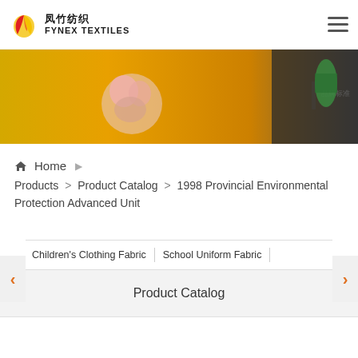[Figure (logo): Fynex Textiles logo with flame/leaf icon, Chinese text 凤竹纺织 and English FYNEX TEXTILES]
[Figure (photo): Banner image showing sewing machine, decorative flowers and orange/yellow background with text 品牌标准]
Home
Products > Product Catalog > 1998 Provincial Environmental Protection Advanced Unit
Children's Clothing Fabric | School Uniform Fabric
Product Catalog